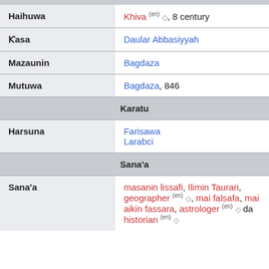| Haihuwa | Khiva (en) ◇, 8 century |
| Ƙasa | Daular Abbasiyyah |
| Mazaunin | Bagdaza |
| Mutuwa | Bagdaza, 846 |
| [section] Karatu |  |
| Harsuna | Farisawa
Larabci |
| [section] Sana'a |  |
| Sana'a | masanin lissafi, Ilimin Taurari, geographer (en) ◇, mai falsafa, mai aikin fassara, astrologer (en) ◇ da historian (en) ◇ |